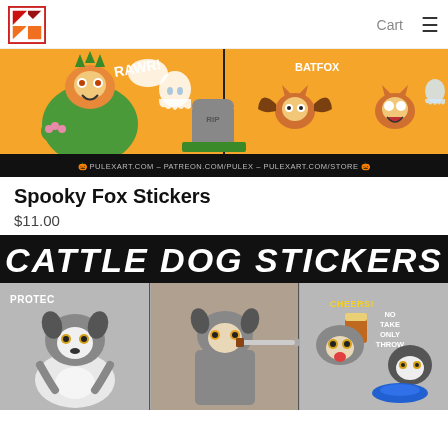Cart ☰
[Figure (illustration): Spooky Fox Stickers banner: orange background with cartoon fox characters in Halloween costumes - fox in dinosaur costume saying RAWR!, a ghost and RIP gravestone, fox in bat costume labeled BATFOX, fox scared by ghost. Bottom black bar reads: PULEXART.COM - PATREON.COM/PULEX - PULEXART.COM/STORE]
Spooky Fox Stickers
$11.00
[Figure (illustration): Cattle Dog Stickers product banner. Black background with white bold italic text: CATTLE DOG STICKERS. Below: grey background panels showing cartoon Australian Cattle Dog stickers - dog holding puppy labeled PROTEC, dog with knife, dog drinking beer labeled CHEERS!, dog with frisbee labeled NO TAKE ONLY THROW]